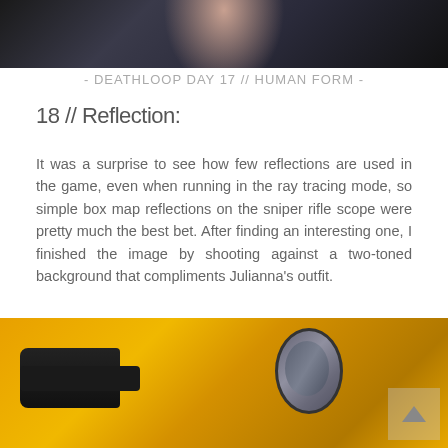[Figure (photo): Top portion of a dark photograph showing a person in dark clothing, partially cropped]
- DEATHLOOP DAY 17 // HUMAN FORM -
18 // Reflection:
It was a surprise to see how few reflections are used in the game, even when running in the ray tracing mode, so simple box map reflections on the sniper rifle scope were pretty much the best bet. After finding an interesting one, I finished the image by shooting against a two-toned background that compliments Julianna's outfit.
[Figure (photo): Bottom portion showing a close-up of a sniper rifle scope against a yellow/orange background, with a circular lens visible and a back-to-top navigation button overlay]